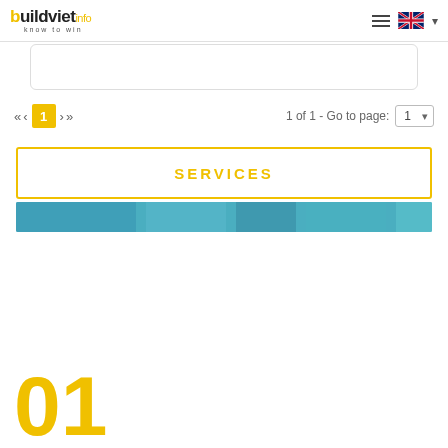buildviet info - know to win
1 of 1 - Go to page: 1
SERVICES
01